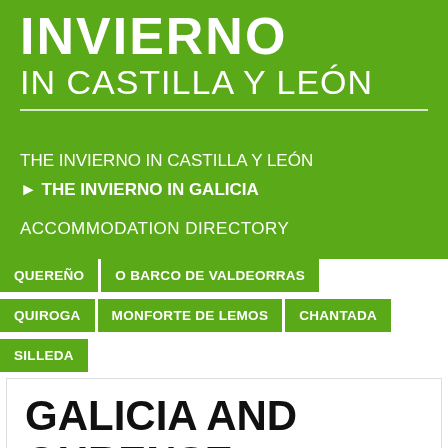INVIERNO
IN CASTILLA Y LEÓN
THE INVIERNO IN CASTILLA Y LEÓN
▶ THE INVIERNO IN GALICIA
ACCOMMODATION DIRECTORY
QUEREÑO | O BARCO DE VALDEORRAS
QUIROGA | MONFORTE DE LEMOS | CHANTADA
SILLEDA
GALICIA AND OURENSE